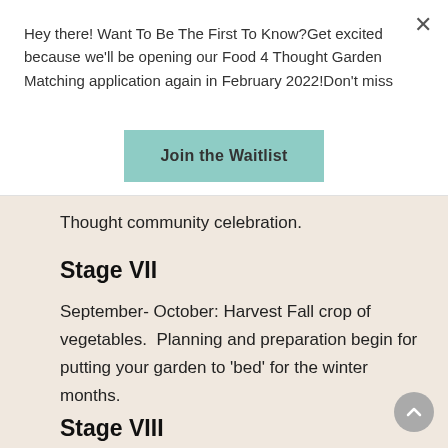Hey there! Want To Be The First To Know?Get excited because we'll be opening our Food 4 Thought Garden Matching application again in February 2022!Don't miss
Join the Waitlist
Thought community celebration.
Stage VII
September- October: Harvest Fall crop of vegetables.  Planning and preparation begin for putting your garden to 'bed' for the winter months.
Stage VIII